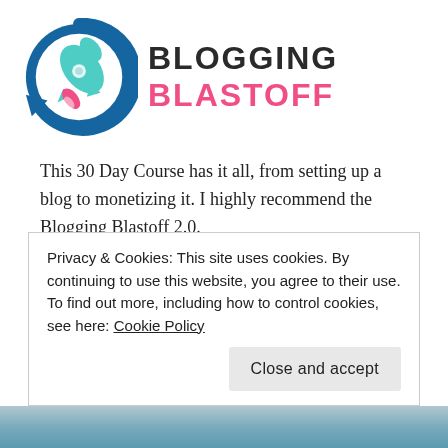[Figure (logo): Blogging Blastoff logo: rocket ship inside a blue circular arrow, with text 'BLOGGING BLASTOFF' where BLOGGING is dark and BLASTOFF is pink]
This 30 Day Course has it all, from setting up a blog to monetizing it. I highly recommend the Blogging Blastoff 2.0.
BE A TRAVEL BLOGGER!
Privacy & Cookies: This site uses cookies. By continuing to use this website, you agree to their use.
To find out more, including how to control cookies, see here: Cookie Policy
Close and accept